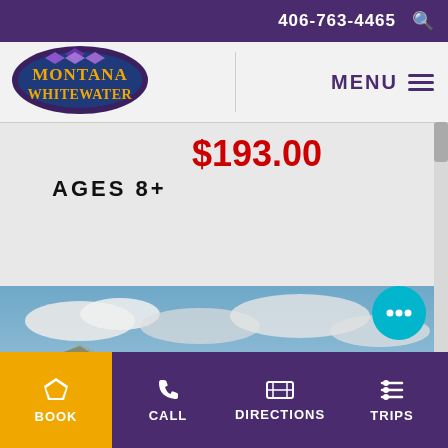406-763-4465
[Figure (logo): Montana Whitewater logo — oval shaped badge with mountain/gem design and yellow text on dark blue/purple background]
MENU
$193.00
AGES 8+
[Figure (photo): Scenic mountain canyon landscape photograph showing rocky mountains, green valley with river, and blue sky with clouds]
BOOK  CALL  DIRECTIONS  TRIPS